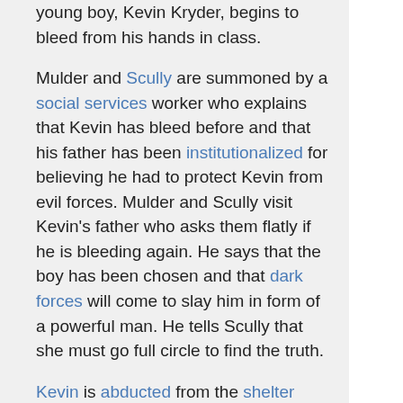young boy, Kevin Kryder, begins to bleed from his hands in class.
Mulder and Scully are summoned by a social services worker who explains that Kevin has bleed before and that his father has been institutionalized for believing he had to protect Kevin from evil forces. Mulder and Scully visit Kevin's father who asks them flatly if he is bleeding again. He says that the boy has been chosen and that dark forces will come to slay him in form of a powerful man. He tells Scully that she must go full circle to find the truth.
Kevin is abducted from the shelter where he is staying,